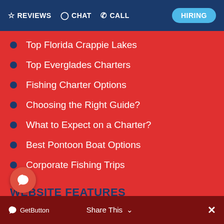REVIEWS  CHAT  CALL  HIRING
Top Florida Crappie Lakes
Top Everglades Charters
Fishing Charter Options
Choosing the Right Guide?
What to Expect on a Charter?
Best Pontoon Boat Options
Corporate Fishing Trips
WEBSITE FEATURES
Photo by Lake
Photos by Event
Charity Events
Photos of Wildlife
GetButton  Share This  ×